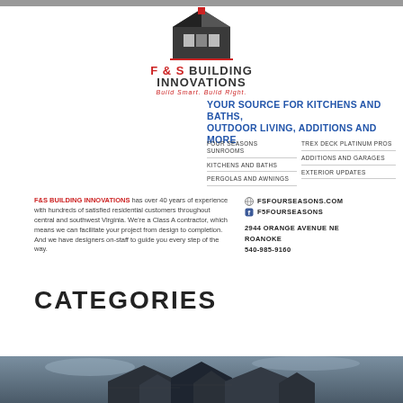[Figure (logo): F&S Building Innovations logo with building icon and tagline 'Build Smart. Build Right.']
YOUR SOURCE FOR KITCHENS AND BATHS, OUTDOOR LIVING, ADDITIONS AND MORE
FOUR SEASONS SUNROOMS
TREX DECK PLATINUM PROS
KITCHENS AND BATHS
ADDITIONS AND GARAGES
PERGOLAS AND AWNINGS
EXTERIOR UPDATES
F&S BUILDING INNOVATIONS has over 40 years of experience with hundreds of satisfied residential customers throughout central and southwest Virginia. We're a Class A contractor, which means we can facilitate your project from design to completion. And we have designers on-staff to guide you every step of the way.
FSFOURSEASONS.COM
F5FOURSEASONS
2944 ORANGE AVENUE NE
ROANOKE
540-985-9160
CATEGORIES
[Figure (photo): Exterior architectural photo of a modern house with gabled roofline against a cloudy sky]